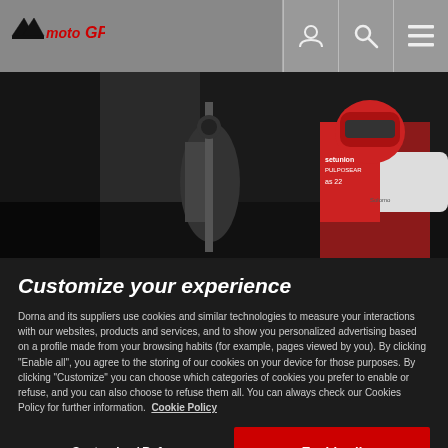MotoGP header with logo and navigation icons
[Figure (photo): MotoGP racing photo showing a rider in red and white gear with helmet, pit crew working on motorcycle]
Customize your experience
Dorna and its suppliers use cookies and similar technologies to measure your interactions with our websites, products and services, and to show you personalized advertising based on a profile made from your browsing habits (for example, pages viewed by you). By clicking “Enable all”, you agree to the storing of our cookies on your device for those purposes. By clicking “Customize” you can choose which categories of cookies you prefer to enable or refuse, and you can also choose to refuse them all. You can always check our Cookies Policy for further information. Cookie Policy
Customize / Refuse
Enable all